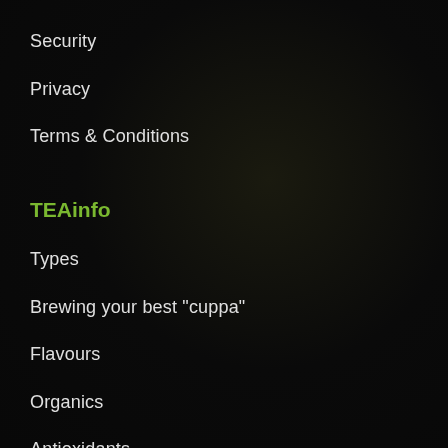Security
Privacy
Terms & Conditions
TEAinfo
Types
Brewing your best "cuppa"
Flavours
Organics
Antioxidants
Caffeine
FAQ